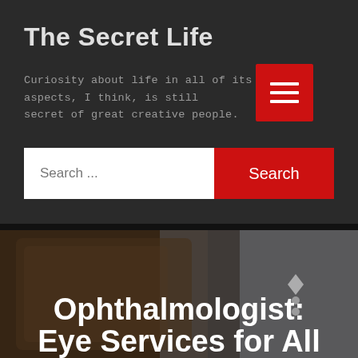The Secret Life
Curiosity about life in all of its aspects, I think, is still secret of great creative people.
[Figure (screenshot): Red hamburger menu button with three white horizontal lines on red background]
Search ...
Search
Ophthalmologist: Eye Services for All